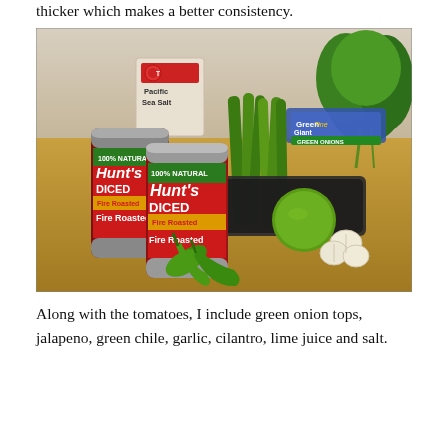thicker which makes a better consistency.
[Figure (photo): Ingredients for salsa laid out on a wooden cutting board: two cans of Hunt's Diced Fire Roasted tomatoes, a bag of Green Giant green onions, a lime, jalapeno peppers, green chile, garlic cloves, cilantro, a packet of dried herbs, and a container of Pacific Sea Salt.]
Along with the tomatoes, I include green onion tops, jalapeno, green chile, garlic, cilantro, lime juice and salt.